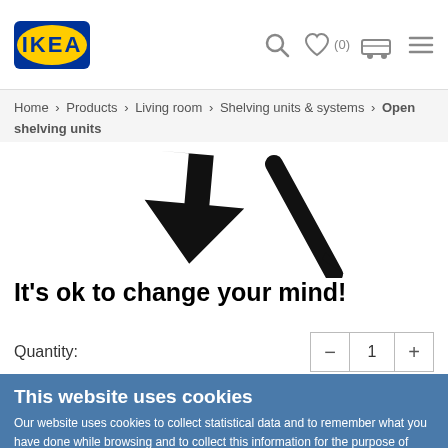[Figure (logo): IKEA logo — blue rectangle with yellow IKEA text]
Home > Products > Living room > Shelving units & systems > Open shelving units
[Figure (illustration): Two large arrows pointing diagonally, one down-right and one down-left, suggesting returning or changing direction]
It's ok to change your mind!
Quantity:
- 1 +
This website uses cookies
Our website uses cookies to collect statistical data and to remember what you have done while browsing and to collect this information for the purpose of improving our performance and personalized advertising. You may accept the use of all or only certain cookies. Please see the Cookie Policy for more information.
OK
✓ Necessary   □ Preferences   □ Statistics   □ Marketing   Show details ˅